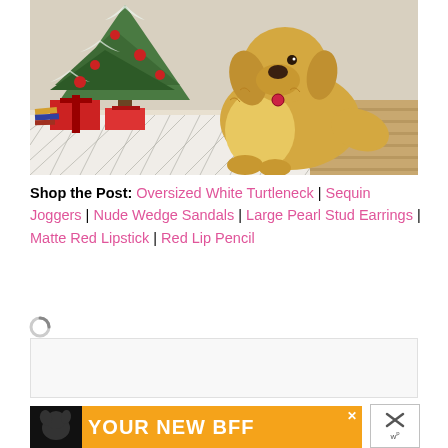[Figure (photo): A golden retriever dog sitting on a white patterned rug in front of a decorated Christmas tree with red ornaments and wrapped gifts. The scene has warm holiday decor with books and presents under the tree.]
Shop the Post: Oversized White Turtleneck | Sequin Joggers | Nude Wedge Sandals | Large Pearl Stud Earrings | Matte Red Lipstick | Red Lip Pencil
[Figure (other): Loading spinner icon (grey circle with dark arc)]
[Figure (other): Advertisement banner: YOUR NEW BFF with a black dog silhouette on orange background, with X close buttons]